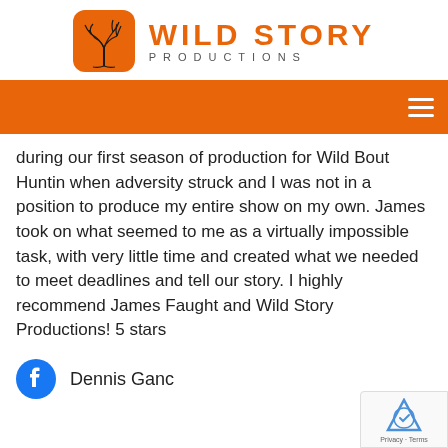[Figure (logo): Wild Story Productions logo with orange rounded-square icon showing a tree silhouette, and orange text reading WILD STORY PRODUCTIONS]
during our first season of production for Wild Bout Huntin when adversity struck and I was not in a position to produce my entire show on my own. James took on what seemed to me as a virtually impossible task, with very little time and created what we needed to meet deadlines and tell our story. I highly recommend James Faught and Wild Story Productions! 5 stars
Dennis Ganc